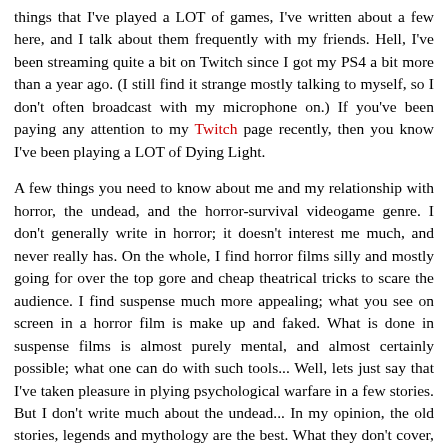things that I've played a LOT of games, I've written about a few here, and I talk about them frequently with my friends. Hell, I've been streaming quite a bit on Twitch since I got my PS4 a bit more than a year ago. (I still find it strange mostly talking to myself, so I don't often broadcast with my microphone on.) If you've been paying any attention to my Twitch page recently, then you know I've been playing a LOT of Dying Light.
A few things you need to know about me and my relationship with horror, the undead, and the horror-survival videogame genre. I don't generally write in horror; it doesn't interest me much, and never really has. On the whole, I find horror films silly and mostly going for over the top gore and cheap theatrical tricks to scare the audience. I find suspense much more appealing; what you see on screen in a horror film is make up and faked. What is done in suspense films is almost purely mental, and almost certainly possible; what one can do with such tools... Well, lets just say that I've taken pleasure in plying psychological warfare in a few stories. But I don't write much about the undead... In my opinion, the old stories, legends and mythology are the best. What they don't cover, Dungeons & Dragons covered to my satisfaction, so with the rare exception, I don't write about them. They're fine as they